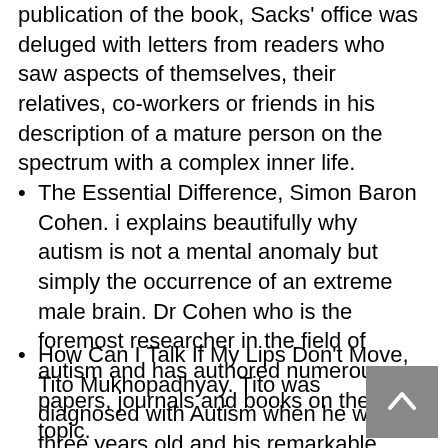publication of the book, Sacks' office was deluged with letters from readers who saw aspects of themselves, their relatives, co-workers or friends in his description of a mature person on the spectrum with a complex inner life.
The Essential Difference, Simon Baron Cohen. i explains beautifully why autism is not a mental anomaly but simply the occurrence of an extreme male brain. Dr Cohen who is the foremost researcher in the field of autism and has authored numerous papers, journals and books on the topic.
How Can I Talk If My Lips Don't Move, Tito Mukhopadhyay. Tito was diagnosed with Autism when he was three years old and his remarkable mother Soma who taught him to read and write. Tito writes poems and stories of exquisite beauty, which Oliver Sacks